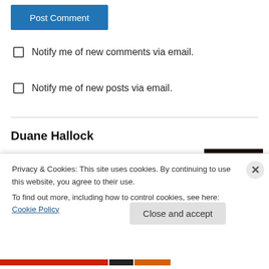Post Comment
Notify me of new comments via email.
Notify me of new posts via email.
Duane Hallock
I communicate with passion and purpose to inspire those searching for beauty and truth.
[Figure (photo): Headshot of Duane Hallock, a man wearing glasses with short gray/brown hair, smiling, against a dark background.]
Privacy & Cookies: This site uses cookies. By continuing to use this website, you agree to their use.
To find out more, including how to control cookies, see here: Cookie Policy
Close and accept